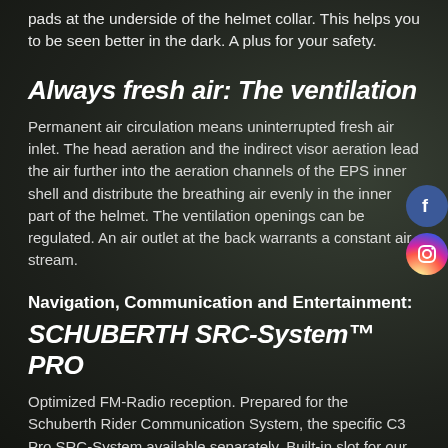pads at the underside of the helmet collar. This helps you to be seen better in the dark. A plus for your safety.
Always fresh air: The ventilation
Permanent air circulation means uninterrupted fresh air inlet. The head aeration and the indirect visor aeration lead the air further into the aeration channels of the EPS inner shell and distribute the breathing air evenly in the inner part of the helmet. The ventilation openings can be regulated. An air outlet at the back warrants a constant air stream.
Navigation, Communication and Entertainment:
SCHUBERTH SRC-System™ PRO
Optimized FM-Radio reception. Prepared for the Schuberth Rider Communication System, the specific C3 Pro SRC-System available separately. Built-in slot for our communication